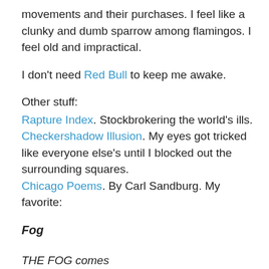movements and their purchases. I feel like a clunky and dumb sparrow among flamingos. I feel old and impractical.
I don't need Red Bull to keep me awake.
Other stuff:
Rapture Index. Stockbrokering the world's ills.
Checkershadow Illusion. My eyes got tricked like everyone else's until I blocked out the surrounding squares.
Chicago Poems. By Carl Sandburg. My favorite:
Fog
THE FOG comes
on little cat feet.